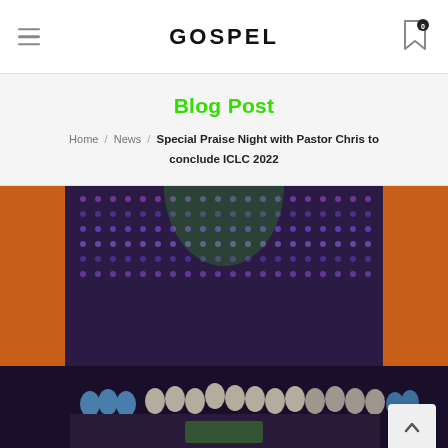GOSPEL
Blog Post
Home / News / Special Praise Night with Pastor Chris to conclude ICLC 2022
[Figure (photo): A large group of choir singers and performers on a stage with colorful purple LED lights and orange backdrop panels. Many are dressed in white jackets and blue outfits.]